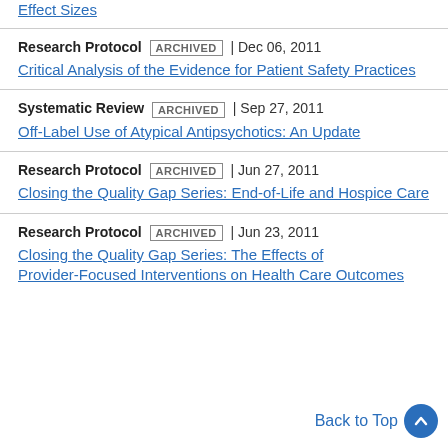Effect Sizes
Research Protocol | ARCHIVED | Dec 06, 2011
Critical Analysis of the Evidence for Patient Safety Practices
Systematic Review | ARCHIVED | Sep 27, 2011
Off-Label Use of Atypical Antipsychotics: An Update
Research Protocol | ARCHIVED | Jun 27, 2011
Closing the Quality Gap Series: End-of-Life and Hospice Care
Research Protocol | ARCHIVED | Jun 23, 2011
Closing the Quality Gap Series: The Effects of Provider-Focused Interventions on Health Care Outcomes